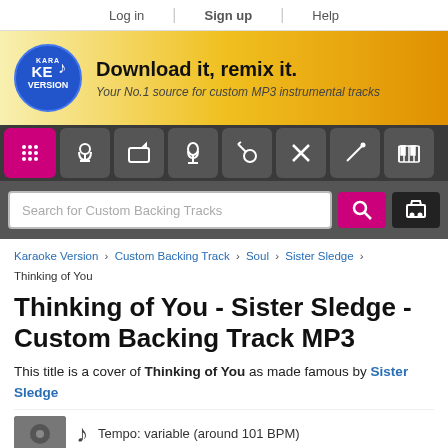Log in | Sign up | Help
[Figure (logo): Karaoke Version logo with blue oval and musical note, banner with text 'Download it, remix it.' and subtitle 'Your No.1 source for custom MP3 instrumental tracks']
[Figure (screenshot): Navigation icon bar with 8 music-related icons on dark background]
[Figure (screenshot): Search bar with placeholder 'Search for Custom Backing Tracks', pink search button and dark cart button]
Karaoke Version > Custom Backing Track > Soul > Sister Sledge > Thinking of You
Thinking of You - Sister Sledge - Custom Backing Track MP3
This title is a cover of Thinking of You as made famous by Sister Sledge
Tempo: variable (around 101 BPM)